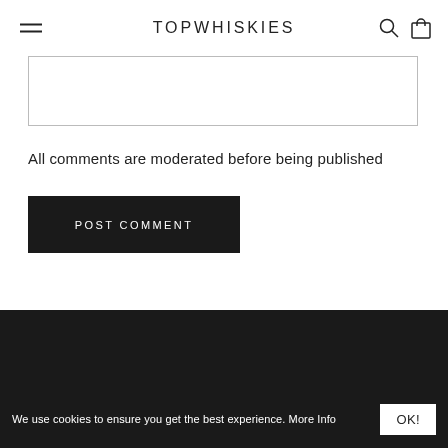TOPWHISKIES
[Figure (screenshot): Empty textarea input box with light grey border]
All comments are moderated before being published
[Figure (screenshot): Black POST COMMENT button]
[Figure (screenshot): Dark footer area with horizontal divider line]
We use cookies to ensure you get the best experience. More Info
OK!